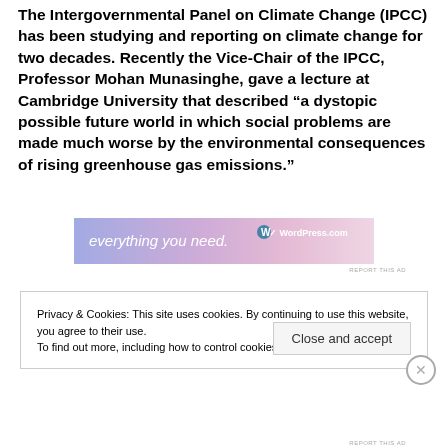The Intergovernmental Panel on Climate Change (IPCC) has been studying and reporting on climate change for two decades. Recently the Vice-Chair of the IPCC, Professor Mohan Munasinghe, gave a lecture at Cambridge University that described “a dystopic possible future world in which social problems are made much worse by the environmental consequences of rising greenhouse gas emissions.”
[Figure (other): WordPress.com advertisement banner reading 'everything you need.' with WordPress.com logo and gradient background]
Privacy & Cookies: This site uses cookies. By continuing to use this website, you agree to their use.
To find out more, including how to control cookies, see here: Cookie Policy